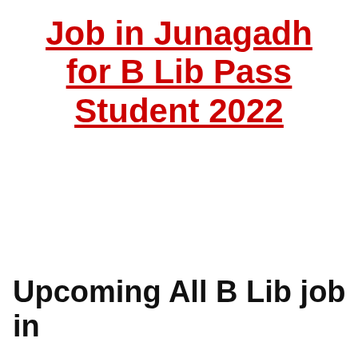Job in Junagadh for B Lib Pass Student 2022
Upcoming All B Lib job in